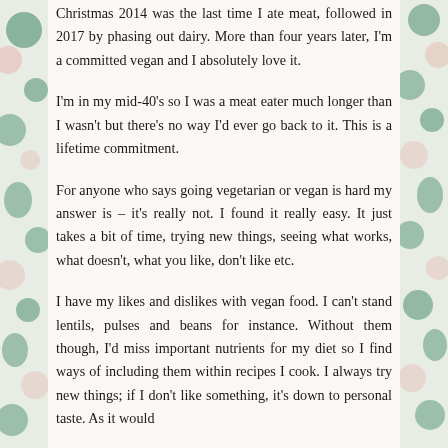Christmas 2014 was the last time I ate meat, followed in 2017 by phasing out dairy. More than four years later, I'm a committed vegan and I absolutely love it.
I'm in my mid-40's so I was a meat eater much longer than I wasn't but there's no way I'd ever go back to it. This is a lifetime commitment.
For anyone who says going vegetarian or vegan is hard my answer is – it's really not. I found it really easy. It just takes a bit of time, trying new things, seeing what works, what doesn't, what you like, don't like etc.
I have my likes and dislikes with vegan food. I can't stand lentils, pulses and beans for instance. Without them though, I'd miss important nutrients for my diet so I find ways of including them within recipes I cook. I always try new things; if I don't like something, it's down to personal taste. As it would